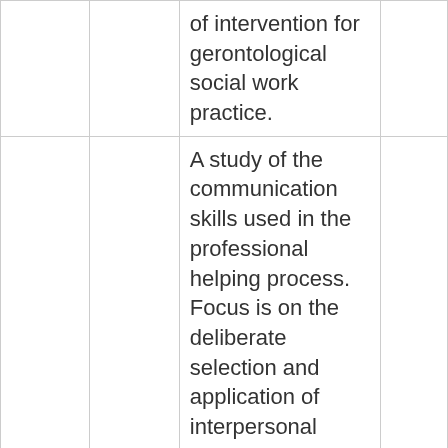|  |  | of intervention for gerontological social work practice. |  |
|  |  | A study of the communication skills used in the professional helping process. Focus is on the deliberate selection and application of interpersonal skills for… |  |